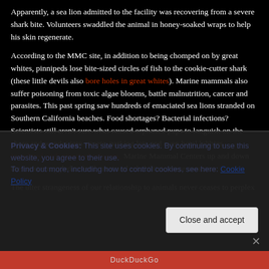Apparently, a sea lion admitted to the facility was recovering from a severe shark bite.  Volunteers swaddled the animal in honey-soaked wraps to help his skin regenerate.
According to the MMC site, in addition to being chomped on by great whites, pinnipeds lose bite-sized circles of fish to the cookie-cutter shark (these little devils also bore holes in great whites). Marine mammals also suffer poisoning from toxic algae blooms, battle malnutrition, cancer and parasites. This past spring saw hundreds of emaciated sea lions stranded on Southern California beaches. Food shortages? Bacterial infections? Scientists still aren't sure what caused orphaned pups to languish on the shore and wander into streets, parking lots and even hotel lobbies. Inundated with pinniped refugees, Marine Mammal Centers up and down the coast struggled to feed, treat and rehabilitate these creatures.
The utter strangeness of our relationship to animals never ceases to perplex
Privacy & Cookies: This site uses cookies. By continuing to use this website, you agree to their use.
To find out more, including how to control cookies, see here: Cookie Policy